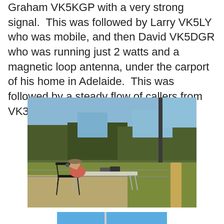Graham VK5KGP with a very strong signal.  This was followed by Larry VK5LY who was mobile, and then David VK5DGR who was running just 2 watts and a magnetic loop antenna, under the carport of his home in Adelaide.  This was followed by a steady flow of callers from VK3 & VK5.
[Figure (photo): Outdoor amateur radio operation: a person wearing a hat sits at a folding table with radio equipment in a natural bush setting with dry grass and scrub vegetation. A vertical antenna pole is visible to the right. A wire fence runs in the background.]
[Figure (photo): Partially visible photo at the bottom of the page, appears to show a blue sky or similar outdoor scene cropped at the page edge.]